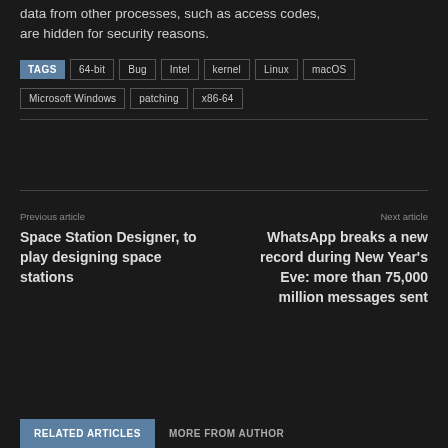data from other processes, such as access codes, are hidden for security reasons.
TAGS 64-bit Bug Intel kernel Linux macOS Microsoft Windows patching x86-64
Previous article
Space Station Designer, to play designing space stations
Next article
WhatsApp breaks a new record during New Year's Eve: more than 75,000 million messages sent
RELATED ARTICLES   MORE FROM AUTHOR